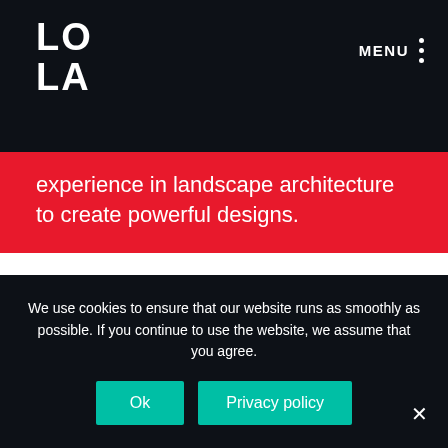LO LA
MENU
experience in landscape architecture to create powerful designs.
[Figure (photo): Portrait photo of a person against a light background, showing head and upper body, faded/light coloring]
We use cookies to ensure that our website runs as smoothly as possible. If you continue to use the website, we assume that you agree.
Ok   Privacy policy